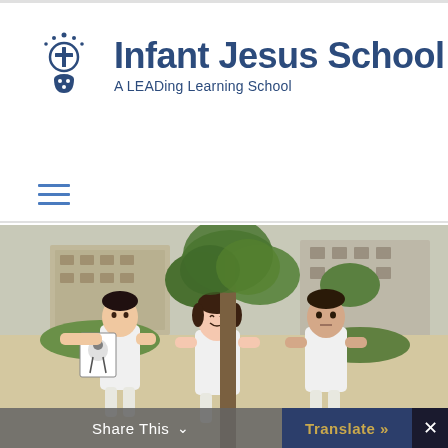[Figure (logo): Infant Jesus School logo with cross icon and text 'A LEADing Learning School']
[Figure (other): Hamburger menu icon with three horizontal lines]
[Figure (photo): Three school children in white uniforms standing outdoors in a school courtyard with trees and school buildings in the background. The leftmost child holds up a drawing.]
Share This
Translate »